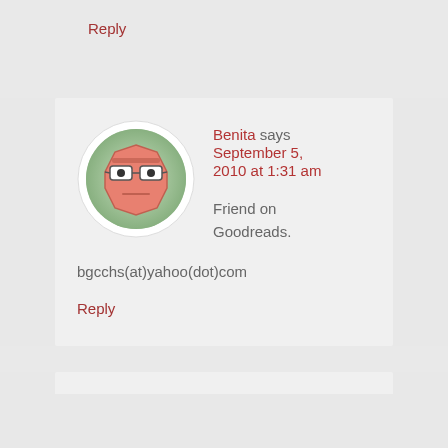Reply
[Figure (illustration): Cartoon avatar of a grumpy-looking robot or character with glasses, salmon/orange color, octagon-shaped head, green circular background]
Benita says September 5, 2010 at 1:31 am
Friend on Goodreads.
bgcchs(at)yahoo(dot)com
Reply